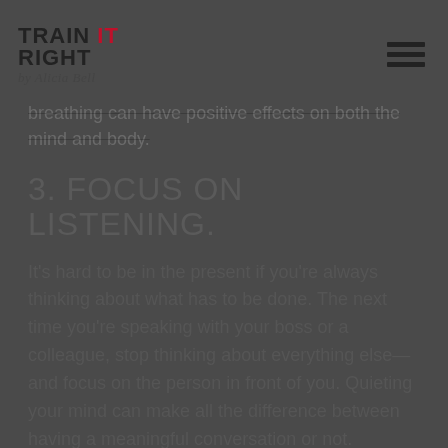Train It Right by Alicia Bell
breathing can have positive effects on both the mind and body.
3. FOCUS ON LISTENING.
It's hard to be in the present if you're always thinking about what has to be done. The next time you're speaking with your boss or a colleague, stop thinking about everything else—and focus on the person in front of you. Quieting your mind can make all the difference between having a meaningful conversation or not.